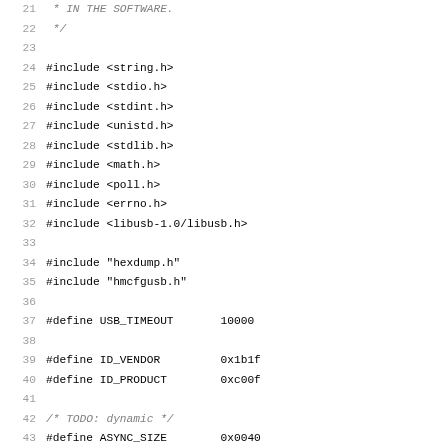Source code listing lines 21–52 of a C file with #include directives, #define macros, and a static variable declaration